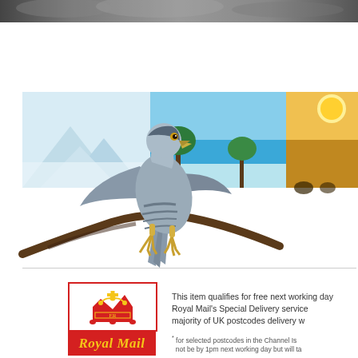[Figure (photo): Dark textured strip at top of page, appears to be a close-up of an animal or rocky surface in grayscale]
[Figure (photo): A hawk or sparrowhawk perched on a branch, with a landscape panoramic banner showing snowy mountains, tropical beach with turquoise water and palm trees, and a golden sunset]
[Figure (logo): Royal Mail logo: red-bordered box containing a crown, with red background bar showing 'Royal Mail' in gold italic text]
This item qualifies for free next working day Royal Mail's Special Delivery service majority of UK postcodes delivery w
* for selected postcodes in the Channel Is not be by 1pm next working day but will ta